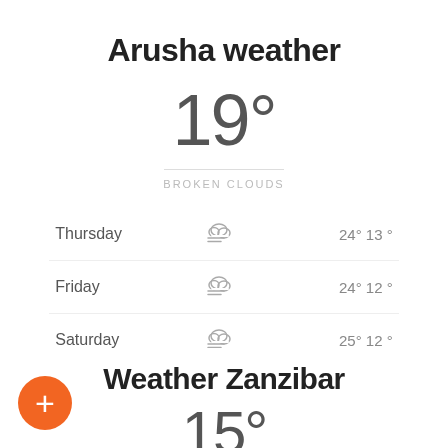Arusha weather
19°
BROKEN CLOUDS
| Day | Icon | Temps |
| --- | --- | --- |
| Thursday | [cloud-wind] | 24° 13 ° |
| Friday | [cloud-wind] | 24° 12 ° |
| Saturday | [cloud-wind] | 25° 12 ° |
Weather Zanzibar
15°